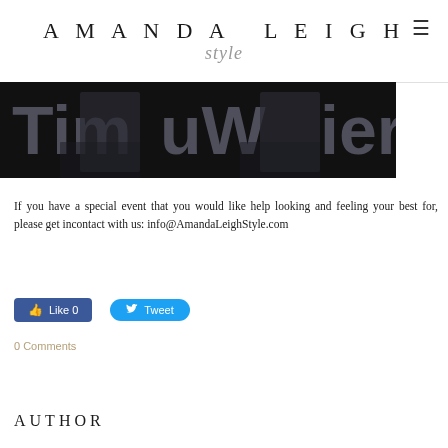AMANDA LEIGH style
[Figure (photo): A dark-background photo showing people seated on stage with large letter signage visible in the background: letters reading 'Tim', 'uW', 'ien' visible.]
If you have a special event that you would like help looking and feeling your best for, please get incontact with us: info@AmandaLeighStyle.com
[Figure (infographic): Facebook Like button showing count 0 and Twitter Tweet button]
0 Comments
AUTHOR